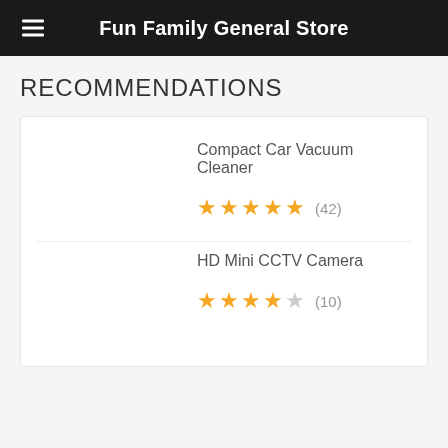Fun Family General Store
RECOMMENDATIONS
Compact Car Vacuum Cleaner — 5 stars (42)
HD Mini CCTV Camera — 4.5 stars (10)